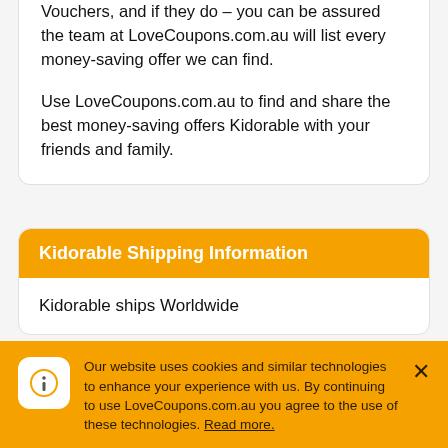Vouchers, and if they do – you can be assured the team at LoveCoupons.com.au will list every money-saving offer we can find.

Use LoveCoupons.com.au to find and share the best money-saving offers Kidorable with your friends and family.
Kidorable Shipping Information
Kidorable ships Worldwide
Kidorable
Our website uses cookies and similar technologies to enhance your experience with us. By continuing to use LoveCoupons.com.au you agree to the use of these technologies. Read more.